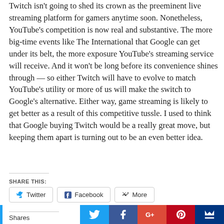Twitch isn't going to shed its crown as the preeminent live streaming platform for gamers anytime soon. Nonetheless, YouTube's competition is now real and substantive. The more big-time events like The International that Google can get under its belt, the more exposure YouTube's streaming service will receive. And it won't be long before its convenience shines through — so either Twitch will have to evolve to match YouTube's utility or more of us will make the switch to Google's alternative. Either way, game streaming is likely to get better as a result of this competitive tussle. I used to think that Google buying Twitch would be a really great move, but keeping them apart is turning out to be an even better idea.
SHARE THIS:
Twitter  Facebook  More
Shares